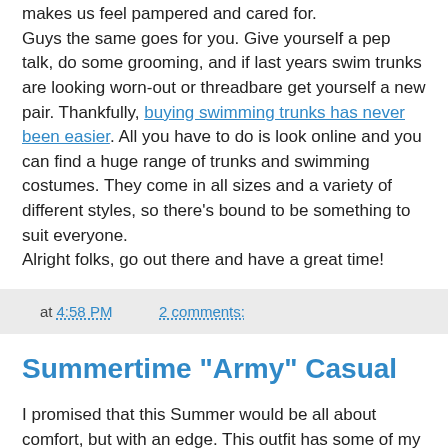makes us feel pampered and cared for.
Guys the same goes for you. Give yourself a pep talk, do some grooming, and if last years swim trunks are looking worn-out or threadbare get yourself a new pair. Thankfully, buying swimming trunks has never been easier. All you have to do is look online and you can find a huge range of trunks and swimming costumes. They come in all sizes and a variety of different styles, so there's bound to be something to suit everyone.
Alright folks, go out there and have a great time!
at 4:58 PM   2 comments:
Summertime "Army" Casual
I promised that this Summer would be all about comfort, but with an edge. This outfit has some of my favorite pieces even though it's pretty tame. Also, this is more proof that - yes!- I can wear more than black. ;)
[Figure (photo): Partial photo of a person, cropped at bottom of page]